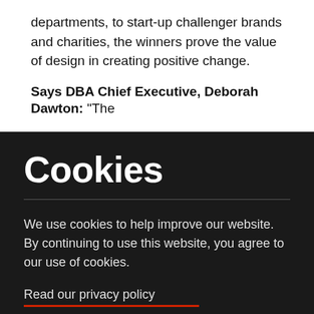departments, to start-up challenger brands and charities, the winners prove the value of design in creating positive change.
Says DBA Chief Executive, Deborah Dawton: “The
Cookies
We use cookies to help improve our website. By continuing to use this website, you agree to our use of cookies.
Read our privacy policy
Accept and close  x